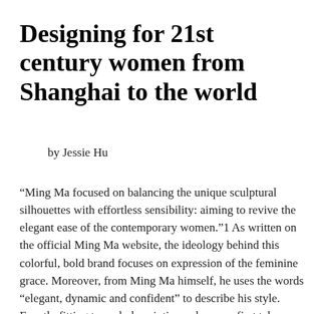Designing for 21st century women from Shanghai to the world
by Jessie Hu
“Ming Ma focused on balancing the unique sculptural silhouettes with effortless sensibility: aiming to revive the elegant ease of the contemporary women.”1 As written on the official Ming Ma website, the ideology behind this colorful, bold brand focuses on expression of the feminine grace. Moreover, from Ming Ma himself, he uses the words “elegant, dynamic and confident” to describe his style. Exactly fitting to such description, when you first take a glance at the designs listed on the website, you see the vibrant, dashing colors and the intricate floral